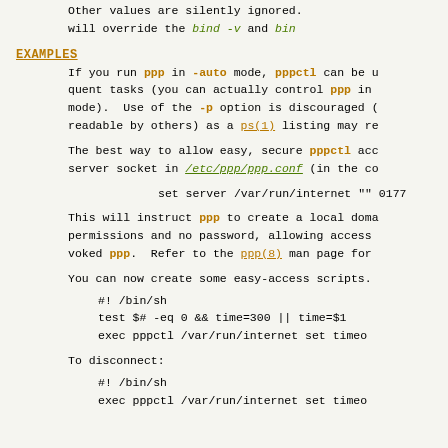Other values are silently ignored. This
will override the bind -v and bind…
EXAMPLES
If you run ppp in -auto mode, pppctl can be used for subse-
quent tasks (you can actually control ppp in -auto or -ddial
mode). Use of the -p option is discouraged (it is world
readable by others) as a ps(1) listing may re
The best way to allow easy, secure pppctl access is to create a
server socket in /etc/ppp/ppp.conf (in the co
set server /var/run/internet "" 0177
This will instruct ppp to create a local doma
permissions and no password, allowing access
voked ppp. Refer to the ppp(8) man page for
You can now create some easy-access scripts.
#! /bin/sh
test $# -eq 0 && time=300 || time=$1
exec pppctl /var/run/internet set timeo
To disconnect:
#! /bin/sh
exec pppctl /var/run/internet set timeo